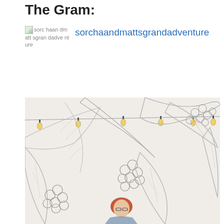The Gram:
sorchaandmattsgrandadventure
[Figure (photo): A person with red/auburn hair stands in front of a large pencil-drawn mural of coffee plant branches with berries and leaves, with string lights hanging above.]